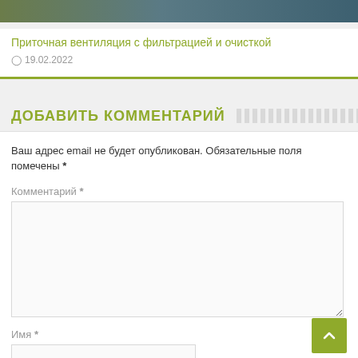[Figure (photo): Horizontal image strip showing interior ventilation/HVAC imagery in muted green and blue tones]
Приточная вентиляция с фильтрацией и очисткой
19.02.2022
ДОБАВИТЬ КОММЕНТАРИЙ
Ваш адрес email не будет опубликован. Обязательные поля помечены *
Комментарий *
Имя *